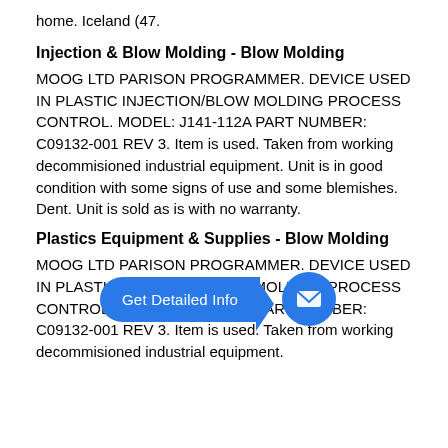home. Iceland (47.
Injection & Blow Molding - Blow Molding
MOOG LTD PARISON PROGRAMMER. DEVICE USED IN PLASTIC INJECTION/BLOW MOLDING PROCESS CONTROL. MODEL: J141-112A PART NUMBER: C09132-001 REV 3. Item is used. Taken from working decommisioned industrial equipment. Unit is in good condition with some signs of use and some blemishes. D[obscured]ent. Unit is sold as is with no warranty.
Plastics Equipment & Supplies - Blow Molding
MOOG LTD PARISON PROGRAMMER. DEVICE USED IN PLASTIC INJECTION/BLOW MOLDING PROCESS CONTROL. MODEL: J141-112A PART NUMBER: C09132-001 REV 3. Item is used. Taken from working decommisioned industrial equipment.